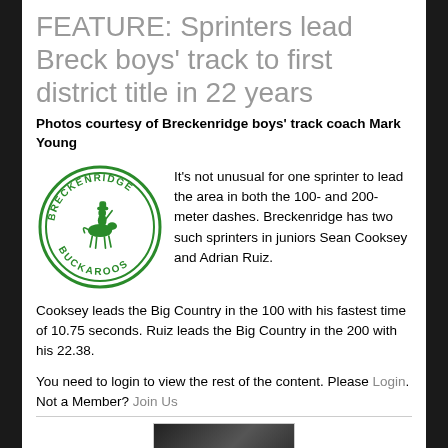FEATURE: Sprinters lead Breck boys' track to first district title in 22 years
Photos courtesy of Breckenridge boys' track coach Mark Young
[Figure (logo): Breckenridge Buckaroos circular logo in green, featuring a buckaroo/cowboy figure on horseback in the center, with 'BRECKENRIDGE' text on the top arc and 'BUCKAROOS' text on the bottom arc.]
It's not unusual for one sprinter to lead the area in both the 100- and 200-meter dashes. Breckenridge has two such sprinters in juniors Sean Cooksey and Adrian Ruiz.
Cooksey leads the Big Country in the 100 with his fastest time of 10.75 seconds. Ruiz leads the Big Country in the 200 with his 22.38.
You need to login to view the rest of the content. Please Login. Not a Member? Join Us
[Figure (photo): Partially visible sports photo at the bottom of the page, showing a dark image of what appears to be an athlete.]